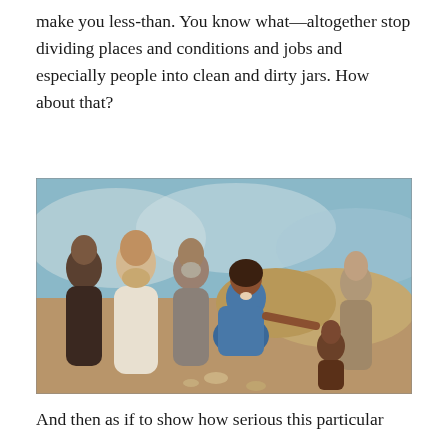make you less-than. You know what—altogether stop dividing places and conditions and jobs and especially people into clean and dirty jars. How about that?
[Figure (illustration): A painting depicting a biblical or historical scene with several figures in robes. A woman in a blue dress kneels on the ground, gesturing and speaking to a group of standing men in robes. Other figures including children are visible in the background against a landscape setting.]
And then as if to show how serious this particular